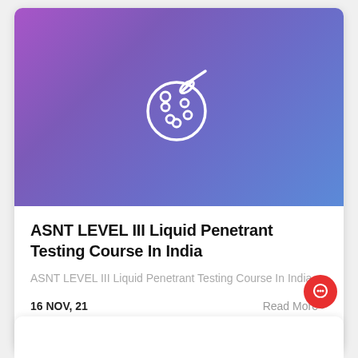[Figure (illustration): Purple-to-blue gradient banner with a white outline artist palette icon with paint brush]
ASNT LEVEL III Liquid Penetrant Testing Course In India
ASNT LEVEL III Liquid Penetrant Testing Course In India
16 NOV, 21   Read More >